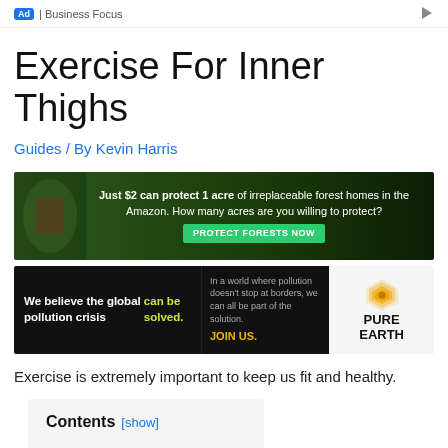Ad | Business Focus
Exercise For Inner Thighs
Guides / By Kevin Harris
[Figure (infographic): Two advertisement banners: (1) Amazon rainforest conservation ad: 'Just $2 can protect 1 acre of irreplaceable forest homes in the Amazon. How many acres are you willing to protect?' with a PROTECT FORESTS NOW button. (2) Pure Earth ad: 'We believe the global pollution crisis can be solved. In a world where pollution doesn't stop at borders, we can all be part of the solution. JOIN US.' with PURE EARTH logo.]
Exercise is extremely important to keep us fit and healthy.
Contents [show]